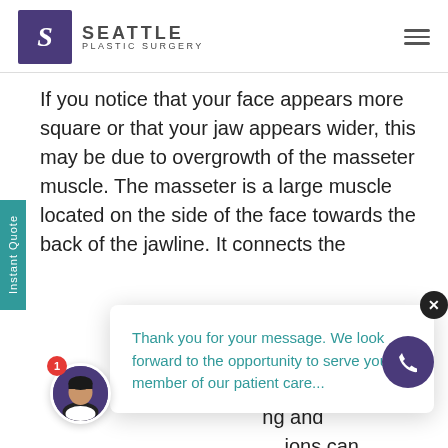Seattle Plastic Surgery
If you notice that your face appears more square or that your jaw appears wider, this may be due to overgrowth of the masseter muscle. The masseter is a large muscle located on the side of the face towards the back of the jawline. It connects the
Thank you for your message. We look forward to the opportunity to serve you. A member of our patient care...
o lift the ng and ions can use the muscle to become particularly ong, which can result in a square or full look along the lower jaw. For women, in